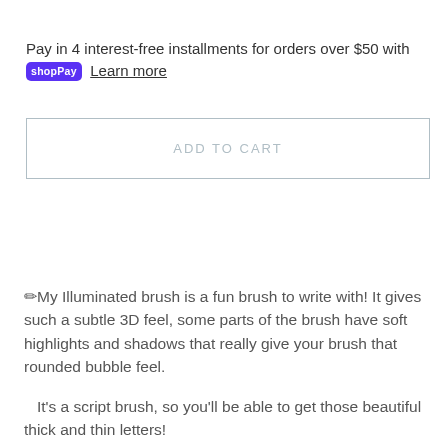Pay in 4 interest-free installments for orders over $50 with shopPay Learn more
ADD TO CART
✏My Illuminated brush is a fun brush to write with! It gives such a subtle 3D feel, some parts of the brush have soft highlights and shadows that really give your brush that rounded bubble feel.
It's a script brush, so you'll be able to get those beautiful thick and thin letters!